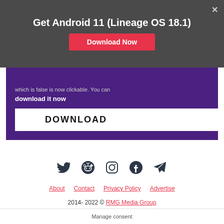Get Android 11 (Lineage OS 18.1)
Download Now
[Figure (screenshot): Purple advertisement banner with text 'which is false is now clickable. You can download it now' and a white DOWNLOAD button]
[Figure (infographic): Social media icons row: Twitter, Reddit, Instagram, Facebook, Telegram]
About   Contact   Privacy Policy   Advertise
2014- 2022 © RMG Media Group
Manage consent